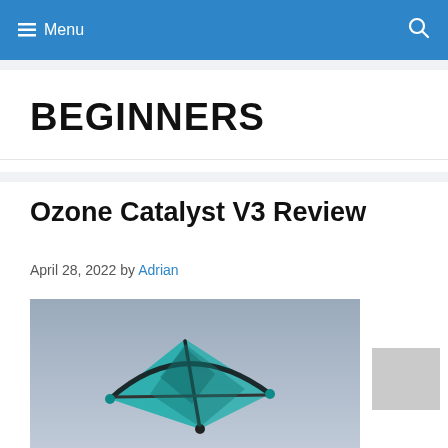≡ Menu   🔍
BEGINNERS
Ozone Catalyst V3 Review
April 28, 2022 by Adrian
[Figure (photo): Ozone Catalyst V3 kite photographed against a gray sky, showing teal and dark colored kite structure]